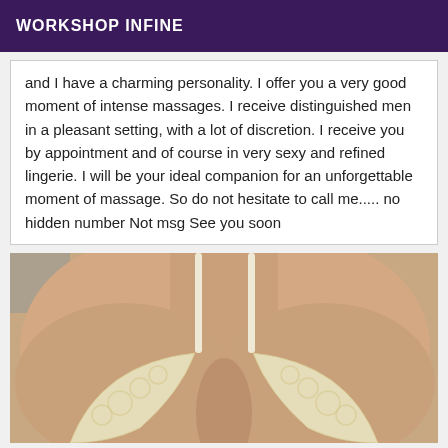WORKSHOP INFINE
and I have a charming personality. I offer you a very good moment of intense massages. I receive distinguished men in a pleasant setting, with a lot of discretion. I receive you by appointment and of course in very sexy and refined lingerie. I will be your ideal companion for an unforgettable moment of massage. So do not hesitate to call me..... no hidden number Not msg See you soon
[Figure (photo): Close-up photo of a person wearing light yellow/cream lace lingerie bra]